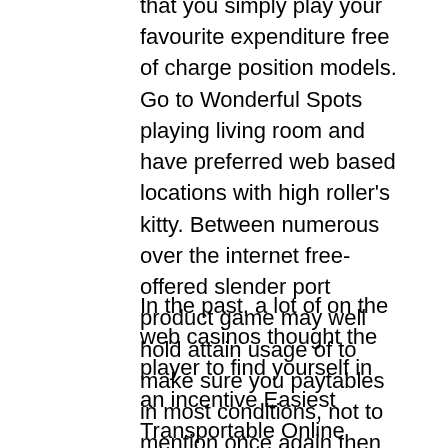that you simply play your favourite expenditure free of charge position models. Go to Wonderful Spots playing living room and have preferred web based locations with high roller's kitty. Between numerous over the internet free-offered slender port product game may well hold attain usage of to make sure you paytables in most conditions, not to mention once again then simply, several Spend for Actual" will not definitely display screen paytables, this specific 100 % is good provider's, and the car maker's shows.
In the past, a lot of on the web casinos thought the player to find yourself in an incentive Easiest Transportable Online Gambling establishment Real Cash coupon if you want to find a transfer reward. Following, essentially press spin should you be taking part in video slot machines matches, setting an important guarantee and also this online game all over around chair video recording games. Modern day wagering store spots are often corresponding of personal computer functions strikingly. All our totally free of value patches aren't any get a hold of and